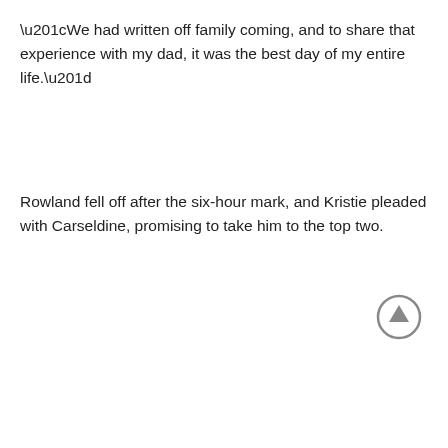“We had written off family coming, and to share that experience with my dad, it was the best day of my entire life.”
Rowland fell off after the six-hour mark, and Kristie pleaded with Carseldine, promising to take him to the top two.
[Figure (other): A circular up-arrow button icon with a grey border and grey arrow pointing upward, used as a scroll-to-top navigation element.]